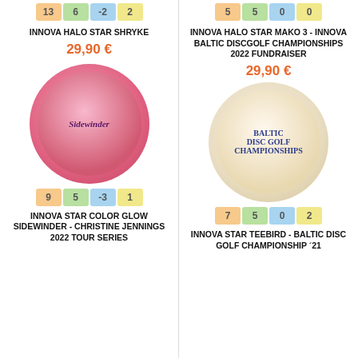[Figure (photo): Top portion of Innova Halo Star Shryke disc with stat bar showing 13, 6, -2, 2]
[Figure (photo): Top portion of Innova Halo Star Mako 3 disc with stat bar showing 5, 5, 0, 0]
INNOVA HALO STAR SHRYKE
29,90 €
INNOVA HALO STAR MAKO 3 - INNOVA BALTIC DISCGOLF CHAMPIONSHIPS 2022 FUNDRAISER
29,90 €
[Figure (photo): Pink Innova Star Color Glow Sidewinder disc with snake/dragon artwork]
[Figure (photo): Cream/beige Innova Star Teebird disc with Baltic Disc Golf Championship 2021 artwork]
9  5  -3  1
7  5  0  2
INNOVA STAR COLOR GLOW SIDEWINDER - CHRISTINE JENNINGS 2022 TOUR SERIES
INNOVA STAR TEEBIRD - BALTIC DISC GOLF CHAMPIONSHIP ´21